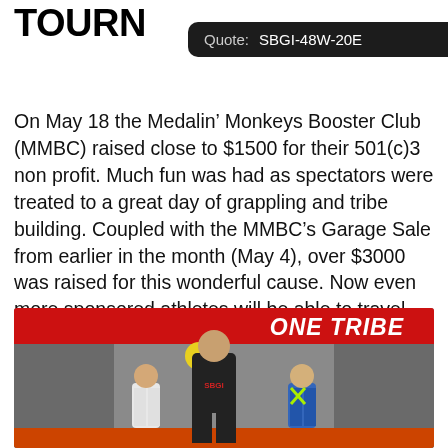TOURN
Quote: SBGI-48W-20E
On May 18 the Medalin’ Monkeys Booster Club (MMBC) raised close to $1500 for their 501(c)3 non profit. Much fun was had as spectators were treated to a great day of grappling and tribe building. Coupled with the MMBC’s Garage Sale from earlier in the month (May 4), over $3000 was raised for this wonderful cause. Now even more sponsored athletes will be able to travel and compete while in search gold medals.
[Figure (photo): Instructor in black shirt standing on a grappling mat with two young children in gis (white and blue), balloons visible in background, red banner reading ONE TRIBE on wall behind them.]